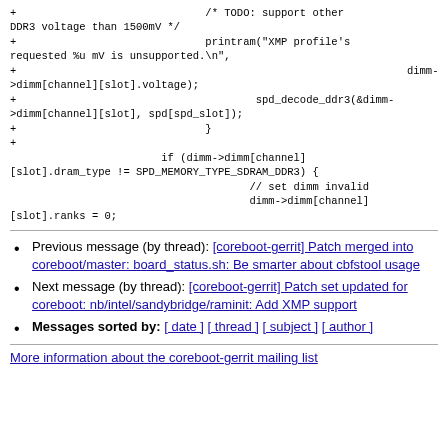+                              /* TODO: support other DDR3 voltage than 1500mV */
+                              printram("XMP profile's requested %u mV is unsupported.\n",
+                                                              dimm->dimm[channel][slot].voltage);
+                                      spd_decode_ddr3(&dimm->dimm[channel][slot], spd[spd_slot]);
+                              }
+
                        if (dimm->dimm[channel][slot].dram_type != SPD_MEMORY_TYPE_SDRAM_DDR3) {
                                              // set dimm invalid
                                              dimm->dimm[channel][slot].ranks = 0;
Previous message (by thread): [coreboot-gerrit] Patch merged into coreboot/master: board_status.sh: Be smarter about cbfstool usage
Next message (by thread): [coreboot-gerrit] Patch set updated for coreboot: nb/intel/sandybridge/raminit: Add XMP support
Messages sorted by: [ date ] [ thread ] [ subject ] [ author ]
More information about the coreboot-gerrit mailing list